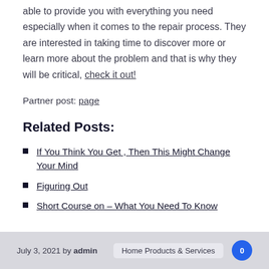able to provide you with everything you need especially when it comes to the repair process. They are interested in taking time to discover more or learn more about the problem and that is why they will be critical, check it out!
Partner post: page
Related Posts:
If You Think You Get , Then This Might Change Your Mind
Figuring Out
Short Course on – What You Need To Know
July 3, 2021 by admin  Home Products & Services  0